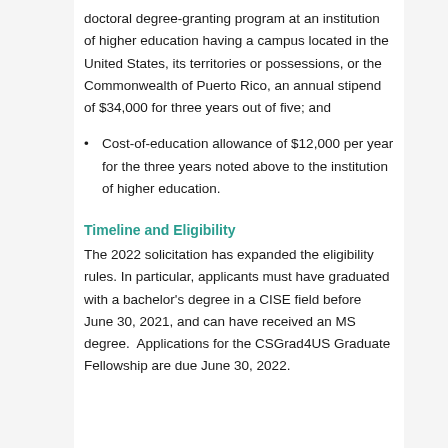doctoral degree-granting program at an institution of higher education having a campus located in the United States, its territories or possessions, or the Commonwealth of Puerto Rico, an annual stipend of $34,000 for three years out of five; and
Cost-of-education allowance of $12,000 per year for the three years noted above to the institution of higher education.
Timeline and Eligibility
The 2022 solicitation has expanded the eligibility rules. In particular, applicants must have graduated with a bachelor's degree in a CISE field before June 30, 2021, and can have received an MS degree.  Applications for the CSGrad4US Graduate Fellowship are due June 30, 2022.